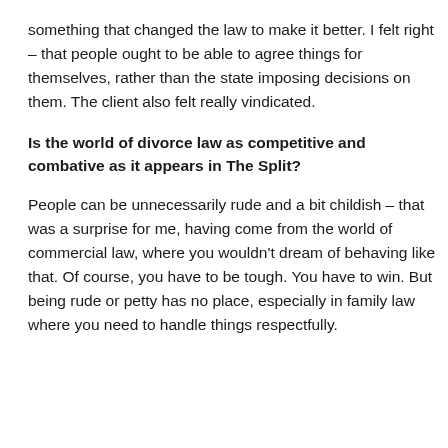something that changed the law to make it better. I felt right – that people ought to be able to agree things for themselves, rather than the state imposing decisions on them. The client also felt really vindicated.
Is the world of divorce law as competitive and combative as it appears in The Split?
People can be unnecessarily rude and a bit childish – that was a surprise for me, having come from the world of commercial law, where you wouldn't dream of behaving like that. Of course, you have to be tough. You have to win. But being rude or petty has no place, especially in family law where you need to handle things respectfully.